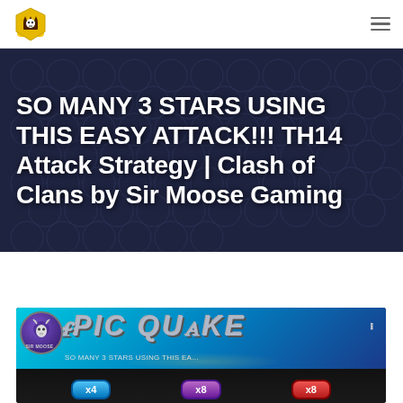Sir Moose Gaming logo and navigation menu
SO MANY 3 STARS USING THIS EASY ATTACK!!! TH14 Attack Strategy | Clash of Clans by Sir Moose Gaming
[Figure (screenshot): YouTube video thumbnail showing 'EPIC QUAKE' text with avatar of Sir Moose Gaming, subtitle 'SO MANY 3 STARS USING THIS EA...' and buttons showing x4, x8, x8]